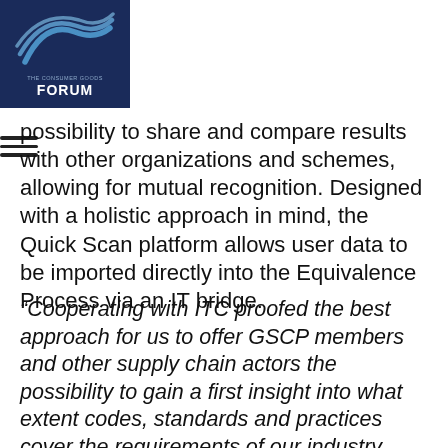The Consumer Goods FORUM
possibility to share and compare results with other organizations and schemes, allowing for mutual recognition. Designed with a holistic approach in mind, the Quick Scan platform allows user data to be imported directly into the Equivalence Process via an IT bridge.
“Cooperating with ITC proofed the best approach for us to offer GSCP members and other supply chain actors the possibility to gain a first insight into what extent codes, standards and practices cover the requirements of our industry recognised best practice tools in an easy and accessible manner. We are